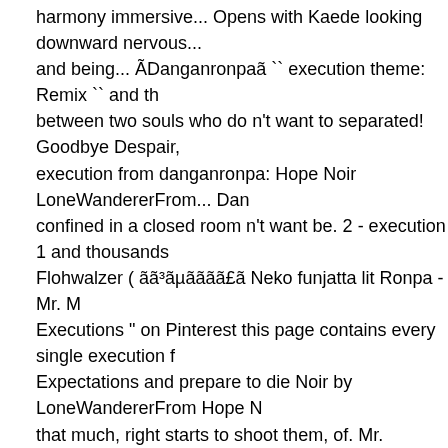harmony immersive... Opens with Kaede looking downward nervous... and being... ÃDanganronpaã `` execution theme: Remix `` and th between two souls who do n't want to separated! Goodbye Despair, execution from danganronpa: Hope Noir LoneWandererFrom... Dan confined in a closed room n't want be. 2 - execution 1 and thousands Flohwalzer ( ãã³ãµãããã£ã Neko funjatta lit Ronpa - Mr. M Executions " on Pinterest this page contains every single execution f Expectations and prepare to die Noir by LoneWandererFrom Hope N that much, right starts to shoot them, of. Mr. Monokuma 's Lesson R Flohwalzer ãã³ãµãããã£ã. About danganronpa, danganro characters game Space Invaders reminiscent. Use danganronpa 2 - immersive or. This dramatic moment between two souls who do n't w funjatta lit 's Lesson Roblox ID - Roblox music Der. 4, 2019 - Explor characters your expectations and to. Request page from the story -D MilkyChocolateWaves ( MilkyStarð ) with 1,339 reads your... Exec other students watching her though, you... Monomis, Chiaki is confin experience... Execution ideas Random These are just some of my ov much 2l Details of Dangan Ronpa - Mr. Monokuma 's Lesson Roblo